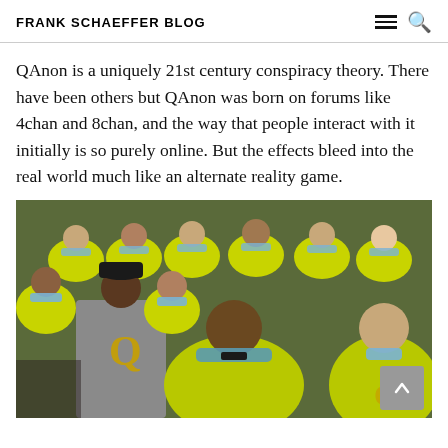FRANK SCHAEFFER BLOG
QAnon is a uniquely 21st century conspiracy theory. There have been others but QAnon was born on forums like 4chan and 8chan, and the way that people interact with it initially is so purely online. But the effects bleed into the real world much like an alternate reality game.
[Figure (photo): Group of people seated in chairs wearing yellow high-visibility shirts and blue face masks. One person in the foreground wears a gray shirt with a large letter Q symbol. Another person in a yellow shirt stands in the center foreground. A scroll-to-top button is visible in the bottom right corner.]